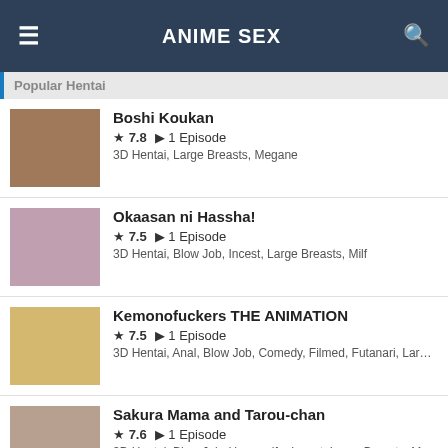ANIME SEX
Popular Hentai
Boshi Koukan | 7.8 | 1 Episode | 3D Hentai, Large Breasts, Megane
Okaasan ni Hassha! | 7.5 | 1 Episode | 3D Hentai, Blow Job, Incest, Large Breasts, Milf
Kemonofuckers THE ANIMATION | 7.5 | 1 Episode | 3D Hentai, Anal, Blow Job, Comedy, Filmed, Futanari, Large Breasts, N...
Sakura Mama and Tarou-chan | 7.6 | 1 Episode | 3D Hentai, Blow Job, Housewife, Incest, Large Breasts, Masturbation ...
Shita no Imouto | 7.5 | 1 Episode | 3D Hentai, Incest, Small Breasts